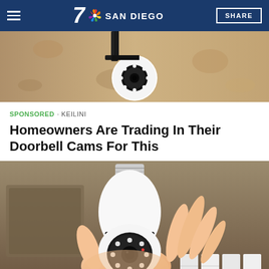7 SAN DIEGO | SHARE
[Figure (photo): Top portion of a light bulb security camera mounted on a wall/ceiling fixture, showing the camera lens and LED lights from below against a textured surface]
SPONSORED · KEILINI
Homeowners Are Trading In Their Doorbell Cams For This
[Figure (photo): A hand holding a white light bulb security camera (Keilini brand) that screws into a standard light socket. The camera has a round black lens housing with LED lights arranged in a circle, and a threaded metal base like a light bulb.]